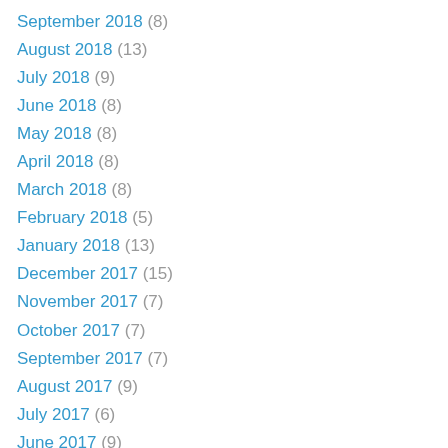September 2018 (8)
August 2018 (13)
July 2018 (9)
June 2018 (8)
May 2018 (8)
April 2018 (8)
March 2018 (8)
February 2018 (5)
January 2018 (13)
December 2017 (15)
November 2017 (7)
October 2017 (7)
September 2017 (7)
August 2017 (9)
July 2017 (6)
June 2017 (9)
May 2017 (8)
April 2017 (5)
March 2017 (7)
February 2017 (10)